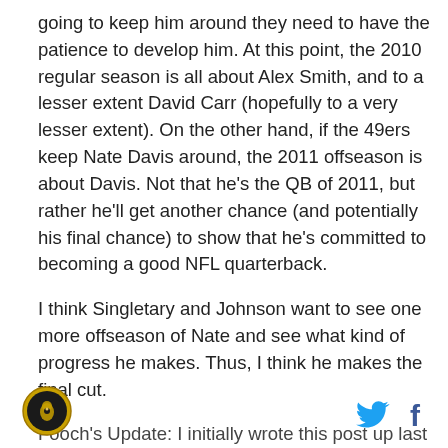going to keep him around they need to have the patience to develop him. At this point, the 2010 regular season is all about Alex Smith, and to a lesser extent David Carr (hopefully to a very lesser extent). On the other hand, if the 49ers keep Nate Davis around, the 2011 offseason is about Davis. Not that he's the QB of 2011, but rather he'll get another chance (and potentially his final chance) to show that he's committed to becoming a good NFL quarterback.
I think Singletary and Johnson want to see one more offseason of Nate and see what kind of progress he makes. Thus, I think he makes the final cut.
Fooch's Update: I initially wrote this post up last night
[Figure (logo): Circular logo with gold/brown border and dark center with a small light icon]
[Figure (logo): Twitter bird icon in light blue and Facebook 'f' icon in dark blue, social sharing buttons]